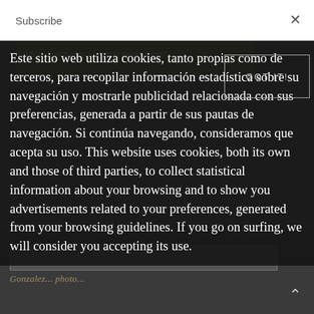Subscribe
Este sitio web utiliza cookies, tanto propias como de terceros, para recopilar información estadística sobre su navegación y mostrarle publicidad relacionada con sus preferencias, generada a partir de sus pautas de navegación. Si continúa navegando, consideramos que acepta su uso. This website uses cookies, both its own and those of third parties, to collect statistical information about your browsing and to show you advertisements related to your preferences, generated from your browsing guidelines. If you go on surfing, we will consider you accepting its use.